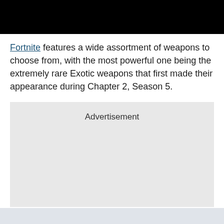[Figure (other): Black banner image at top of page]
Fortnite features a wide assortment of weapons to choose from, with the most powerful one being the extremely rare Exotic weapons that first made their appearance during Chapter 2, Season 5.
Advertisement